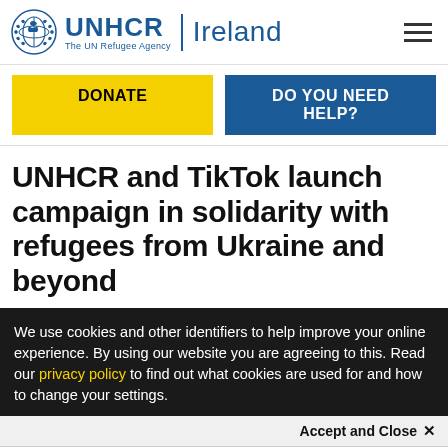UNHCR | Ireland — The UN Refugee Agency
DONATE | DO YOU NEED HELP?
UNHCR and TikTok launch campaign in solidarity with refugees from Ukraine and beyond
We use cookies and other identifiers to help improve your online experience. By using our website you are agreeing to this. Read our privacy policy to find out what cookies are used for and how to change your settings.
Accept and Close ✕
Your browser settings do not allow cross-site tracking for advertising. Click on this page to allow AdRoll to use cross-site tracking to tailor ads to you. Learn more or opt out of this AdRoll tracking by clicking here. This message only appears once.